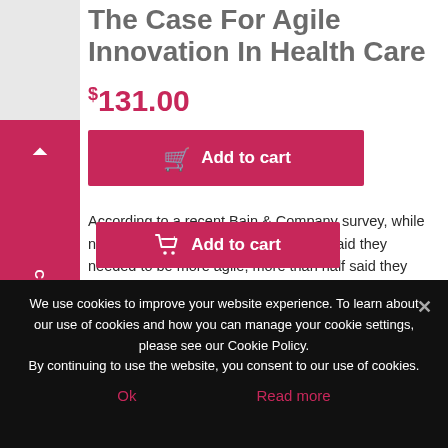The Case For Agile Innovation In Health Care
$131.00
Add to cart
According to a recent Bain & Company survey, while nearly 80% of health care executives said they needed to be more agile, more than half said they were not familiar with formal agile methodologies and tools and were not using them in their companies.
September 3, 2019
We use cookies to improve your website experience. To learn about our use of cookies and how you can manage your cookie settings, please see our Cookie Policy. By continuing to use the website, you consent to our use of cookies.
Ok
Read more